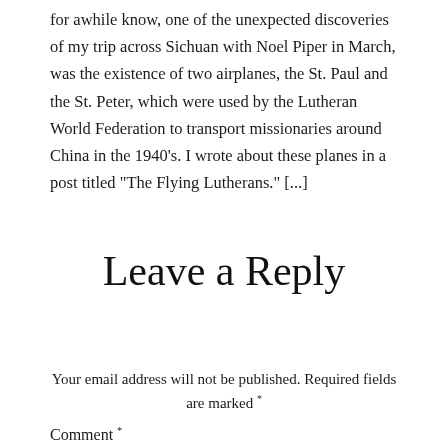for awhile know, one of the unexpected discoveries of my trip across Sichuan with Noel Piper in March, was the existence of two airplanes, the St. Paul and the St. Peter, which were used by the Lutheran World Federation to transport missionaries around China in the 1940’s. I wrote about these planes in a post titled “The Flying Lutherans.” [...]
Leave a Reply
Your email address will not be published. Required fields are marked *
Comment *